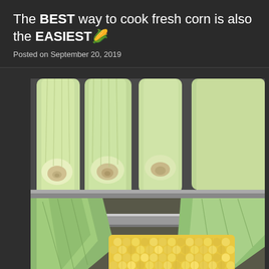The BEST way to cook fresh corn is also the EASIEST 🌽
Posted on September 20, 2019
[Figure (photo): Close-up photo of fresh ears of corn. Top half shows several ears of corn still in their husks viewed from the stalk end, arranged on a dark surface. Bottom half shows a partially husked ear of corn with yellow kernels visible alongside green husks and a knife.]